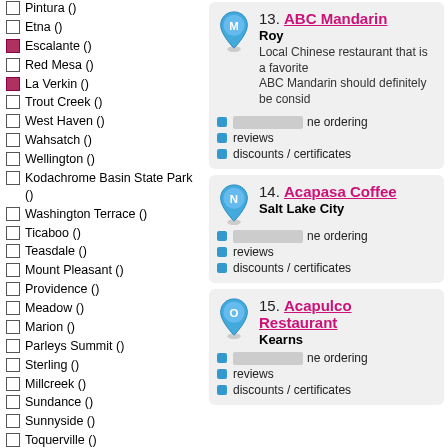Pintura ()
Etna ()
Escalante () [checked]
Red Mesa ()
La Verkin () [checked]
Trout Creek ()
West Haven ()
Wahsatch ()
Wellington ()
Kodachrome Basin State Park ()
Washington Terrace ()
Ticaboo ()
Teasdale ()
Mount Pleasant ()
Providence ()
Meadow ()
Marion ()
Parleys Summit ()
Sterling ()
Millcreek ()
Sundance ()
Sunnyside ()
Toquerville ()
Sutherland ()
Sevier ()
Bloomington ()
Cannonville ()
Hinckley ()
Fairfield ()
Hill Air Force Base ()
Castle Dale ()
Hatton ()
13. ABC Mandarin — Roy — Local Chinese restaurant that is a favorite. ABC Mandarin should definitely be consid...
14. Acapasa Coffee — Salt Lake City
15. Acapulco Restaurant — Kearns